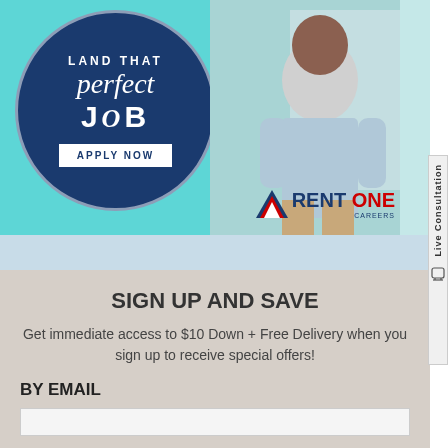[Figure (illustration): Rent One Careers advertisement banner with teal background. A dark navy circle contains the text 'LAND THAT perfect JOB' with an 'APPLY NOW' button. A smiling man in a light blue polo shirt stands on the right side. The Rent One Careers logo appears in the lower right of the banner.]
SIGN UP AND SAVE
Get immediate access to $10 Down + Free Delivery when you sign up to receive special offers!
BY EMAIL